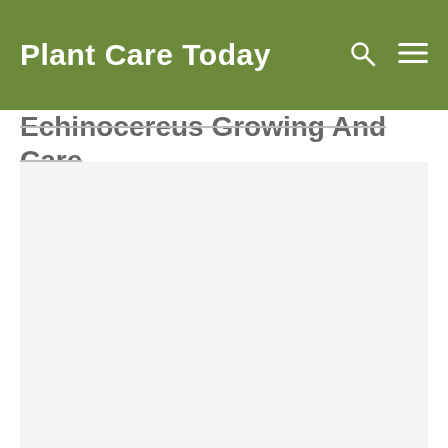Plant Care Today
Echinocereus Growing And Care
The hedgehog cactus, Echinocereus (ek-in-oh-KER-ee-us) is a ribbed, cylindrical cactus plant and part of the family Cactaceae and genus Echinocereus. The hedgehog plant name comes from the Greek ‘echinos’ meaning